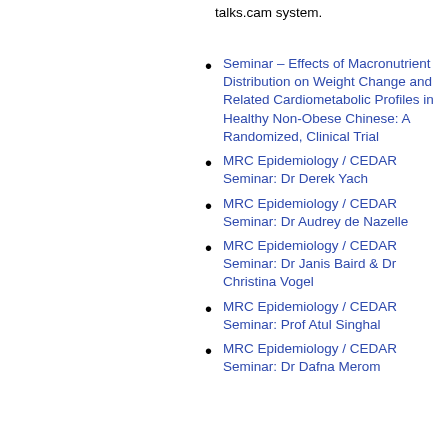talks.cam system.
Seminar – Effects of Macronutrient Distribution on Weight Change and Related Cardiometabolic Profiles in Healthy Non-Obese Chinese: A Randomized, Clinical Trial
MRC Epidemiology / CEDAR Seminar: Dr Derek Yach
MRC Epidemiology / CEDAR Seminar: Dr Audrey de Nazelle
MRC Epidemiology / CEDAR Seminar: Dr Janis Baird & Dr Christina Vogel
MRC Epidemiology / CEDAR Seminar: Prof Atul Singhal
MRC Epidemiology / CEDAR Seminar: Dr Dafna Merom